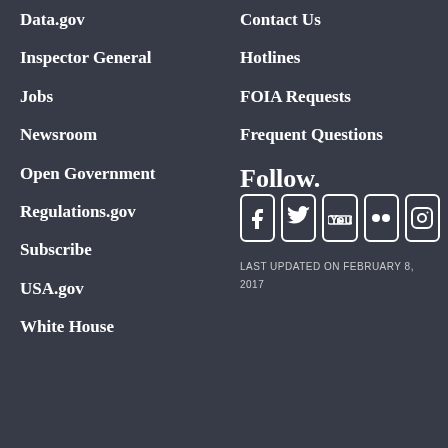Data.gov
Inspector General
Jobs
Newsroom
Open Government
Regulations.gov
Subscribe
USA.gov
White House
Contact Us
Hotlines
FOIA Requests
Frequent Questions
Follow.
[Figure (infographic): Social media icons: Facebook, Twitter, YouTube, Flickr, Instagram]
LAST UPDATED ON FEBRUARY 8, 2017